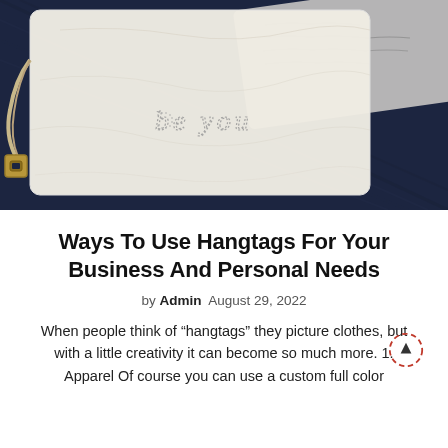[Figure (photo): Close-up photograph of a fabric hangtag with embroidered text reading 'be you', alongside a brass clasp and rope on a dark blue denim background. Another tag with handwritten text is visible in the background.]
Ways To Use Hangtags For Your Business And Personal Needs
by Admin  August 29, 2022
When people think of “hangtags” they picture clothes, but with a little creativity it can become so much more. 1. Apparel Of course you can use a custom full color